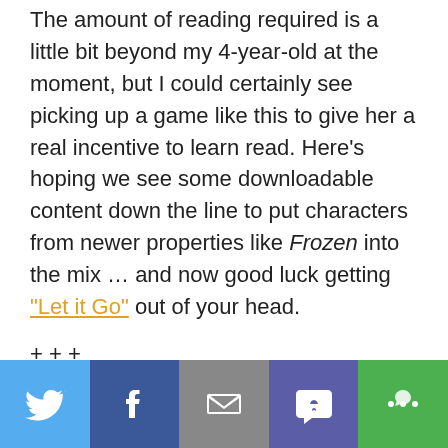The amount of reading required is a little bit beyond my 4-year-old at the moment, but I could certainly see picking up a game like this to give her a real incentive to learn read. Here's hoping we see some downloadable content down the line to put characters from newer properties like Frozen into the mix … and now good luck getting "Let it Go" out of your head.
+ + +
Rich Gallagher is an involved dad and full-time PR guy. He helps coordinate New Dad Boot Camp classes for NYC Dads Group and is always on the lookout for volunteer veteran dads.
[Figure (infographic): Social share bar with Twitter, Facebook, Email, SMS, and More buttons]